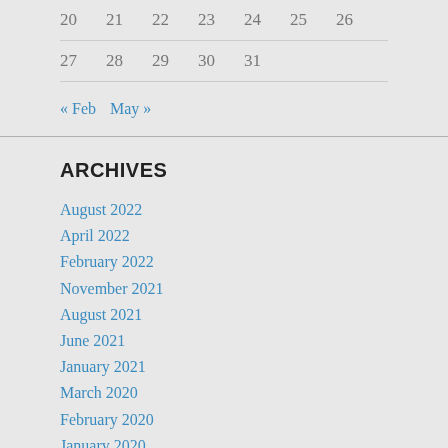| 20 | 21 | 22 | 23 | 24 | 25 | 26 |
| 27 | 28 | 29 | 30 | 31 |  |  |
« Feb   May »
ARCHIVES
August 2022
April 2022
February 2022
November 2021
August 2021
June 2021
January 2021
March 2020
February 2020
January 2020
November 2019
October 2019